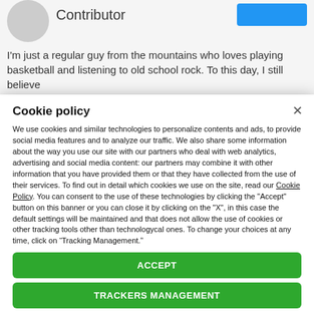Contributor
I'm just a regular guy from the mountains who loves playing basketball and listening to old school rock. To this day, I still believe
Cookie policy
We use cookies and similar technologies to personalize contents and ads, to provide social media features and to analyze our traffic. We also share some information about the way you use our site with our partners who deal with web analytics, advertising and social media content: our partners may combine it with other information that you have provided them or that they have collected from the use of their services. To find out in detail which cookies we use on the site, read our Cookie Policy. You can consent to the use of these technologies by clicking the "Accept" button on this banner or you can close it by clicking on the "X", in this case the default settings will be maintained and that does not allow the use of cookies or other tracking tools other than technologycal ones. To change your choices at any time, click on “Tracking Management.”
ACCEPT
TRACKERS MANAGEMENT
Show vendors | Show purposes